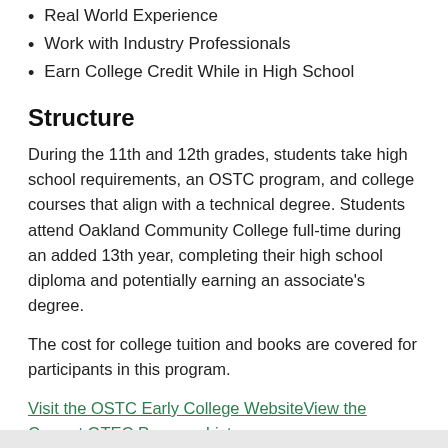Real World Experience
Work with Industry Professionals
Earn College Credit While in High School
Structure
During the 11th and 12th grades, students take high school requirements, an OSTC program, and college courses that align with a technical degree. Students attend Oakland Community College full-time during an added 13th year, completing their high school diploma and potentially earning an associate's degree.
The cost for college tuition and books are covered for participants in this program.
Visit the OSTC Early College WebsiteView the Current OTEC Program List